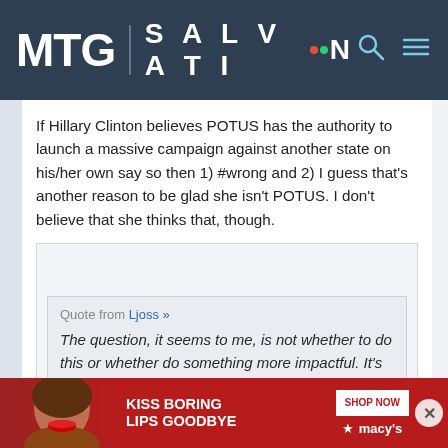MTG | SALVATION
If Hillary Clinton believes POTUS has the authority to launch a massive campaign against another state on his/her own say so then 1) #wrong and 2) I guess that's another reason to be glad she isn't POTUS. I don't believe that she thinks that, though.
Quote from Ljoss »
The question, it seems to me, is not whether to do this or whether do something more impactful. It's whether to
[Figure (photo): Macy's advertisement banner: woman with red lips, text 'KISS BORING LIPS GOODBYE', 'SHOP NOW', Macy's star logo]